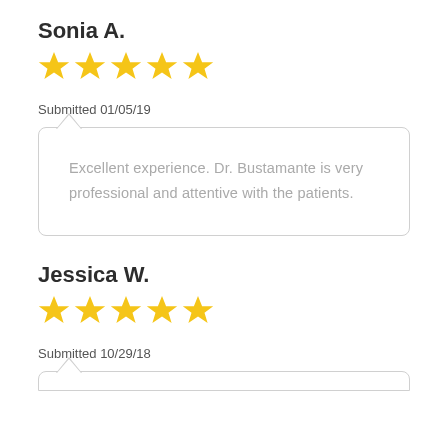Sonia A.
[Figure (other): 5 yellow stars rating]
Submitted 01/05/19
Excellent experience. Dr. Bustamante is very professional and attentive with the patients.
Jessica W.
[Figure (other): 5 yellow stars rating]
Submitted 10/29/18